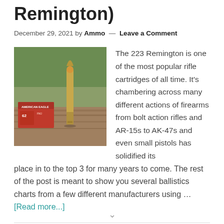Remington)
December 29, 2021 by Ammo — Leave a Comment
[Figure (photo): A .223 Remington cartridge standing upright on a wooden surface next to an American Eagle ammunition box, with green foliage in the background.]
The 223 Remington is one of the most popular rifle cartridges of all time. It's chambering across many different actions of firearms from bolt action rifles and AR-15s to AK-47s and even small pistols has solidified its place in to the top 3 for many years to come. The rest of the post is meant to show you several ballistics charts from a few different manufacturers using … [Read more...]